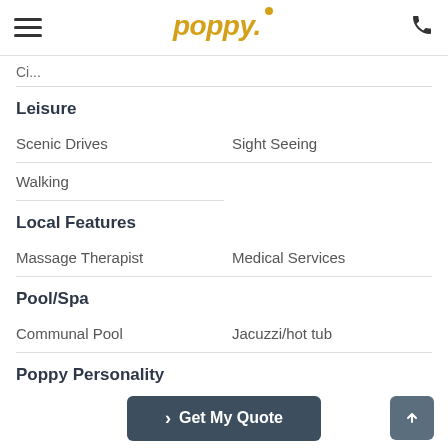Poppy
Leisure
Scenic Drives
Sight Seeing
Walking
Local Features
Massage Therapist
Medical Services
Pool/Spa
Communal Pool
Jacuzzi/hot tub
Poppy Personality
The Friends Getaway
The Sports Enthusiast
Safety Featu...
> Get My Quote